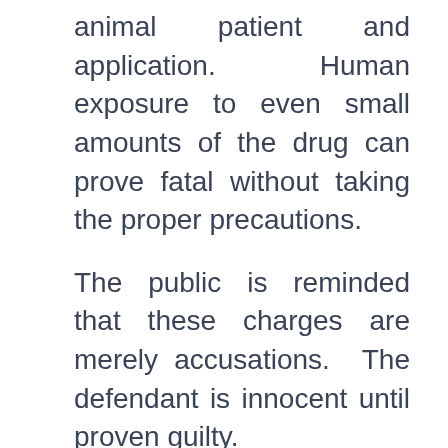animal patient and application.  Human exposure to even small amounts of the drug can prove fatal without taking the proper precautions.
The public is reminded that these charges are merely accusations.  The defendant is innocent until proven guilty.
The investigation conducted by members of the IRB and the IDOR is ongoing.  Assistant Attorney General Grant Swinger of Madigan's Statewide Grand Jury Bureau and Will County Assistant